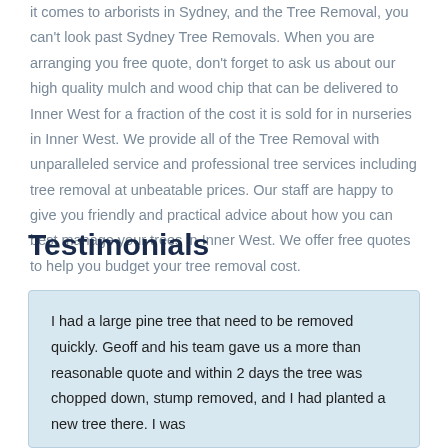it comes to arborists in Sydney, and the Tree Removal, you can't look past Sydney Tree Removals. When you are arranging you free quote, don't forget to ask us about our high quality mulch and wood chip that can be delivered to Inner West for a fraction of the cost it is sold for in nurseries in Inner West. We provide all of the Tree Removal with unparalleled service and professional tree services including tree removal at unbeatable prices. Our staff are happy to give you friendly and practical advice about how you can best manage your trees in Inner West. We offer free quotes to help you budget your tree removal cost.
Testimonials
I had a large pine tree that need to be removed quickly. Geoff and his team gave us a more than reasonable quote and within 2 days the tree was chopped down, stump removed, and I had planted a new tree there. I was